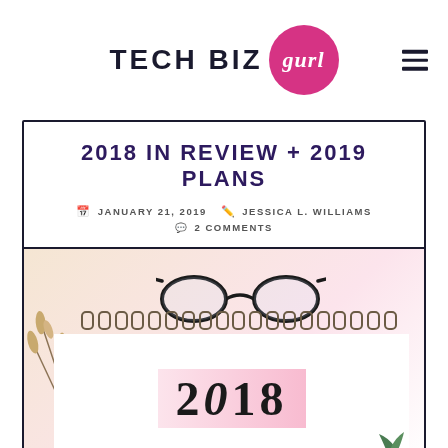TECH BIZ gurl
2018 IN REVIEW + 2019 PLANS
JANUARY 21, 2019 JESSICA L. WILLIAMS 2 COMMENTS
[Figure (photo): A spiral-bound calendar showing '2018' in stylized script on a pink background, with reading glasses resting on top and dried wheat/grass stalks to the left side.]